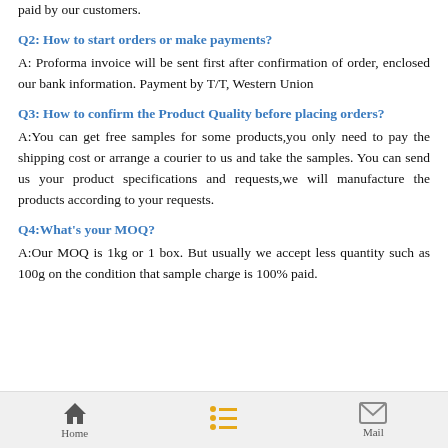paid by our customers.
Q2: How to start orders or make payments?
A: Proforma invoice will be sent first after confirmation of order, enclosed our bank information. Payment by T/T, Western Union
Q3: How to confirm the Product Quality before placing orders?
A:You can get free samples for some products,you only need to pay the shipping cost or arrange a courier to us and take the samples. You can send us your product specifications and requests,we will manufacture the products according to your requests.
Q4:What's your MOQ?
A:Our MOQ is 1kg or 1 box. But usually we accept less quantity such as 100g on the condition that sample charge is 100% paid.
Home | List | Mail